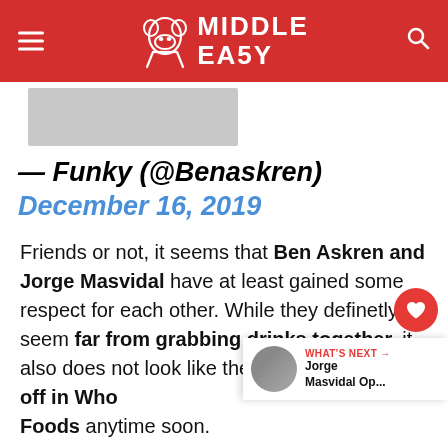Middle Easy
[Figure (photo): Partial image showing grayscale photo, likely of a person or fight scene]
— Funky (@Benaskren) December 16, 2019
Friends or not, it seems that Ben Askren and Jorge Masvidal have at least gained some respect for each other. While they definetly seem far from grabbing drinks together, it also does not look like they will be squaring off in Whole Foods anytime soon.
For more MMA News, Rumors and Updates